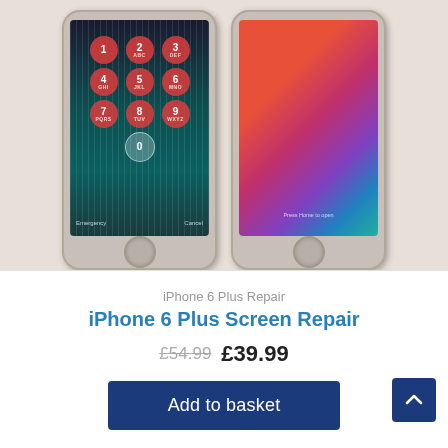[Figure (photo): Two iPhone 6 Plus phones side by side. Left phone shows a cracked/damaged screen with a lock screen numeric keypad (numbers 1-9 and 0) with red circle buttons. Right phone shows a normal home screen with a colorful gradient wallpaper and 'Press Home to open' text. Both phones have a gold/silver frame and physical home button at the bottom.]
iPhone 6 Plus Repair
iPhone 6 Plus Screen Repair
£54.99 £39.99
Add to basket